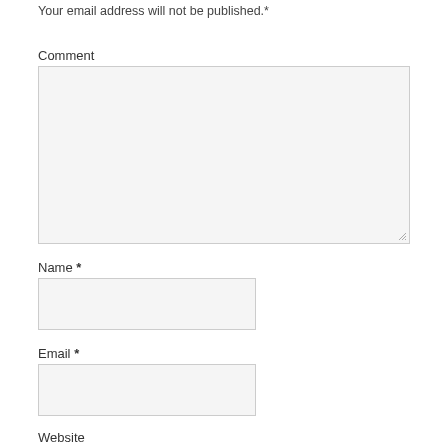Your email address will not be published.*
Comment
[Figure (screenshot): Large empty comment textarea input box with resize handle at bottom right]
Name *
[Figure (screenshot): Short text input box for name field]
Email *
[Figure (screenshot): Short text input box for email field]
Website